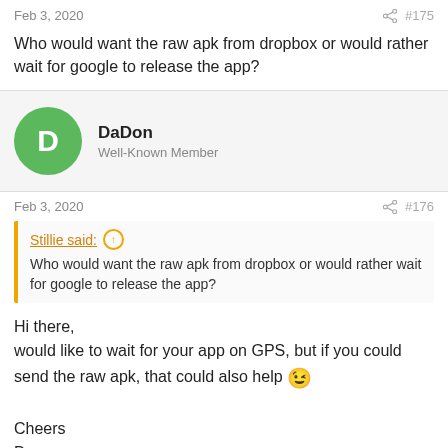Feb 3, 2020  #175
Who would want the raw apk from dropbox or would rather wait for google to release the app?
DaDon
Well-Known Member
Feb 3, 2020  #176
Stillie said: ↑
Who would want the raw apk from dropbox or would rather wait for google to release the app?
Hi there,
would like to wait for your app on GPS, but if you could send the raw apk, that could also help 😉

Cheers
D